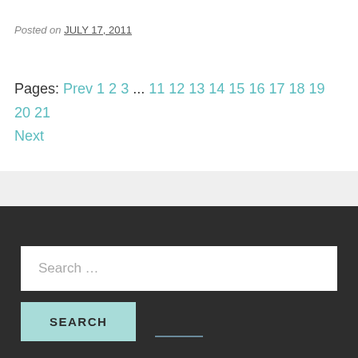Posted on JULY 17, 2011
Pages: Prev 1 2 3 ... 11 12 13 14 15 16 17 18 19 20 21 Next
Search ...
SEARCH